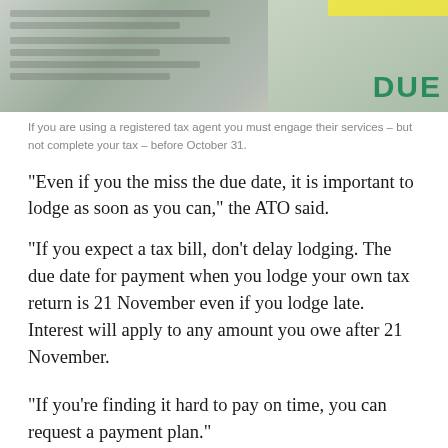[Figure (photo): Photograph of tax documents and papers with 'DUE' text visible in green, with a yellow highlighted section]
If you are using a registered tax agent you must engage their services – but not complete your tax – before October 31.
“Even if you the miss the due date, it is important to lodge as soon as you can,” the ATO said.
“If you expect a tax bill, don’t delay lodging. The due date for payment when you lodge your own tax return is 21 November even if you lodge late. Interest will apply to any amount you owe after 21 November.
“If you’re finding it hard to pay on time, you can request a payment plan.”
Generally speaking – but not definitively – if you are an Australian resident who earned more than $18,200 in the